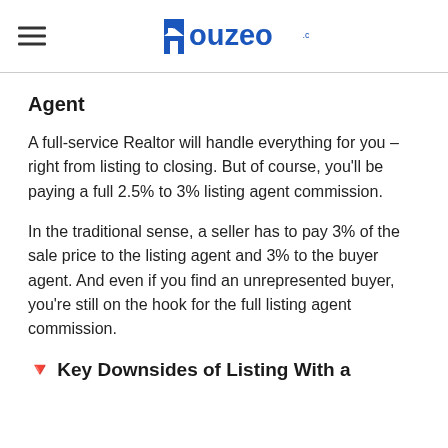Houzeo.com
Agent
A full-service Realtor will handle everything for you – right from listing to closing. But of course, you'll be paying a full 2.5% to 3% listing agent commission.
In the traditional sense, a seller has to pay 3% of the sale price to the listing agent and 3% to the buyer agent. And even if you find an unrepresented buyer, you're still on the hook for the full listing agent commission.
🔻 Key Downsides of Listing With a